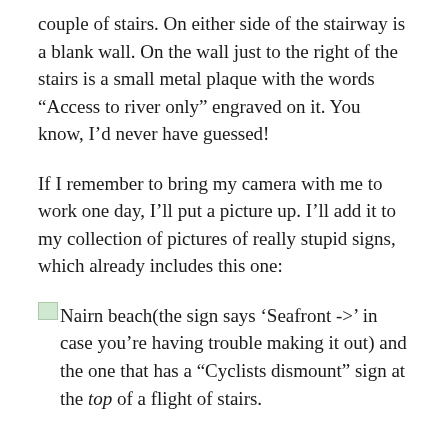couple of stairs. On either side of the stairway is a blank wall. On the wall just to the right of the stairs is a small metal plaque with the words “Access to river only” engraved on it. You know, I’d never have guessed!
If I remember to bring my camera with me to work one day, I’ll put a picture up. I’ll add it to my collection of pictures of really stupid signs, which already includes this one:
Nairn beach(the sign says ‘Seafront ->’ in case you’re having trouble making it out) and the one that has a “Cyclists dismount” sign at the top of a flight of stairs.